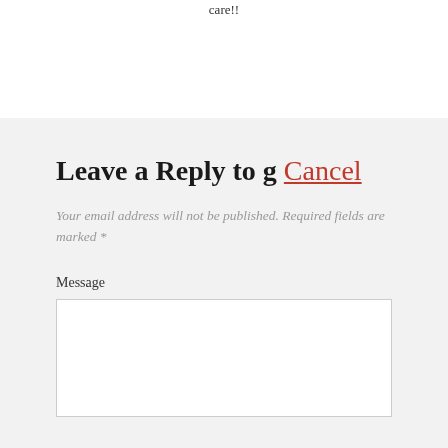care!!
Leave a Reply to g Cancel
Your email address will not be published. Required fields are marked *
Message